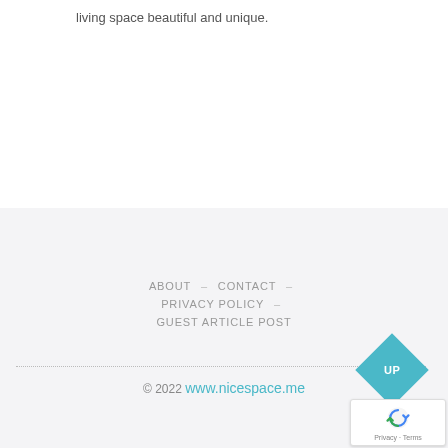living space beautiful and unique.
ABOUT — CONTACT — PRIVACY POLICY — GUEST ARTICLE POST
© 2022 www.nicespace.me